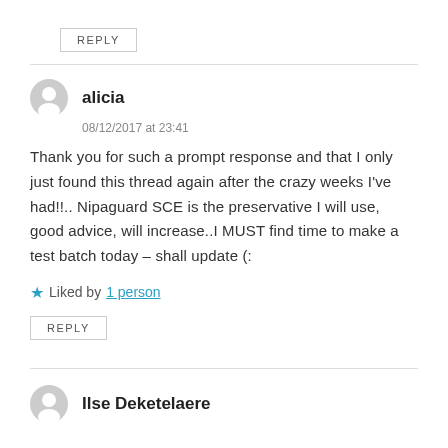REPLY
alicia
08/12/2017 at 23:41
Thank you for such a prompt response and that I only just found this thread again after the crazy weeks I've had!!.. Nipaguard SCE is the preservative I will use, good advice, will increase..I MUST find time to make a test batch today – shall update (:
Liked by 1 person
REPLY
Ilse Deketelaere